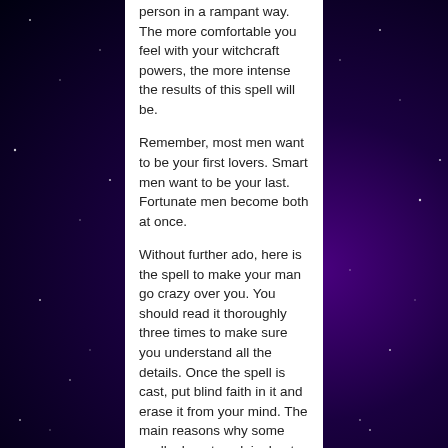person in a rampant way. The more comfortable you feel with your witchcraft powers, the more intense the results of this spell will be.
Remember, most men want to be your first lovers. Smart men want to be your last. Fortunate men become both at once.
Without further ado, here is the spell to make your man go crazy over you. You should read it thoroughly three times to make sure you understand all the details. Once the spell is cast, put blind faith in it and erase it from your mind. The main reasons why some spells do not work is due to lack of knowledge or faith. If you need to learn more about how to cast white magic, I recommend that you go through this